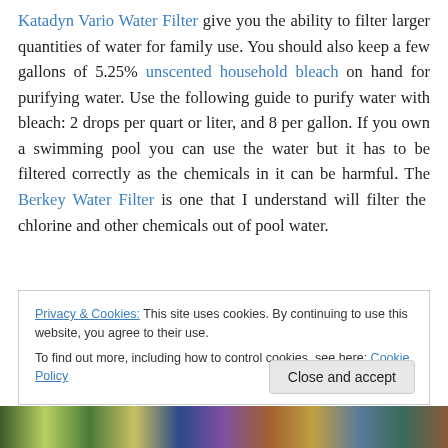Katadyn Vario Water Filter give you the ability to filter larger quantities of water for family use. You should also keep a few gallons of 5.25% unscented household bleach on hand for purifying water. Use the following guide to purify water with bleach: 2 drops per quart or liter, and 8 per gallon. If you own a swimming pool you can use the water but it has to be filtered correctly as the chemicals in it can be harmful. The Berkey Water Filter is one that I understand will filter the chlorine and other chemicals out of pool water.
Privacy & Cookies: This site uses cookies. By continuing to use this website, you agree to their use. To find out more, including how to control cookies, see here: Cookie Policy
[Figure (photo): Partial image strip at bottom of page showing various product images]